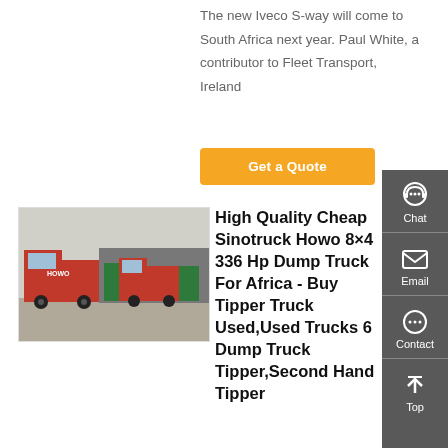The new Iveco S-way will come to South Africa next year. Paul White, a contributor to Fleet Transport, Ireland
[Figure (other): Orange 'Get a Quote' button]
[Figure (photo): Red Sinotruck Howo dump trucks parked in a lot with green trucks in background]
High Quality Cheap Sinotruck Howo 8×4 336 Hp Dump Truck For Africa - Buy Tipper Truck Used,Used Trucks 6 Dump Truck Tipper,Second Hand Tipper